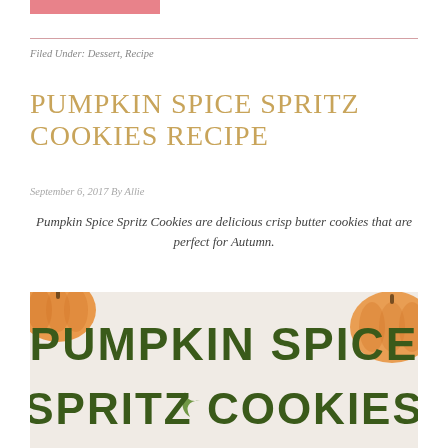Filed Under: Dessert, Recipe
PUMPKIN SPICE SPRITZ COOKIES RECIPE
September 6, 2017 By Allie
Pumpkin Spice Spritz Cookies are delicious crisp butter cookies that are perfect for Autumn.
[Figure (photo): Photo of pumpkin-shaped spritz cookies on a white surface with text overlay reading PUMPKIN SPICE SPRITZ COOKIES in dark green hand-lettered style font]